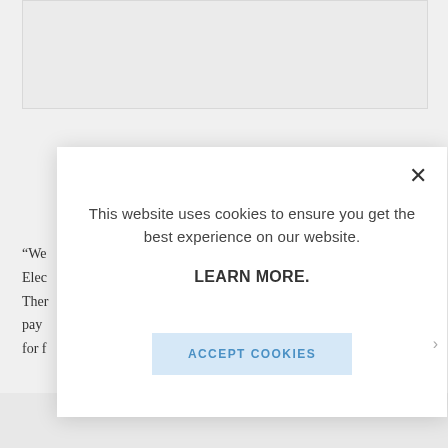[Figure (screenshot): Cookie consent modal dialog overlaying a webpage. The modal contains the text 'This website uses cookies to ensure you get the best experience on our website.' followed by a 'LEARN MORE.' link in bold and an 'ACCEPT COOKIES' button. A close (×) button appears in the top-right corner of the modal. Behind the modal, partially visible body text begins with '“We', 'Elec', 'Ther', 'pay', 'for f'.]